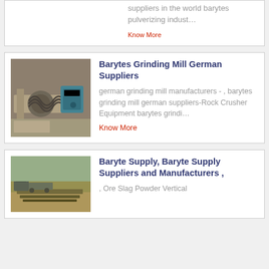suppliers in the world barytes pulverizing indust…
Know More
Barytes Grinding Mill German Suppliers
[Figure (photo): Industrial grinding mill machinery with metal roller and blue motor/pump unit on concrete base]
german grinding mill manufacturers - , barytes grinding mill german suppliers-Rock Crusher Equipment barytes grindi…
Know More
Baryte Supply, Baryte Supply Suppliers and Manufacturers ,
[Figure (photo): Outdoor mining or quarry site with machinery and excavated ground, aerial/ground level view]
, Ore Slag Powder Vertical